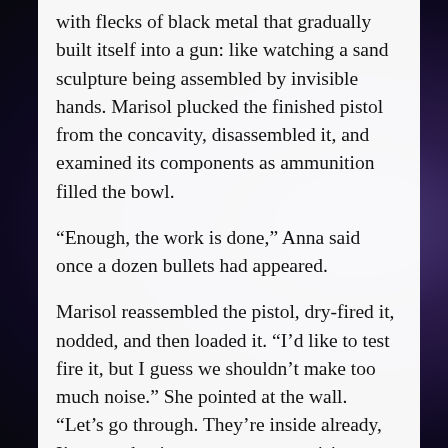with flecks of black metal that gradually built itself into a gun: like watching a sand sculpture being assembled by invisible hands. Marisol plucked the finished pistol from the concavity, disassembled it, and examined its components as ammunition filled the bowl.
“Enough, the work is done,” Anna said once a dozen bullets had appeared.
Marisol reassembled the pistol, dry-fired it, nodded, and then loaded it. “I’d like to test fire it, but I guess we shouldn’t make too much noise.” She pointed at the wall. “Let’s go through. They’re inside already, I’m sure, having an emergency crisis meeting.”
“Mari, how do you know—”
“Later. Let’s get this done. I hate waiting around.